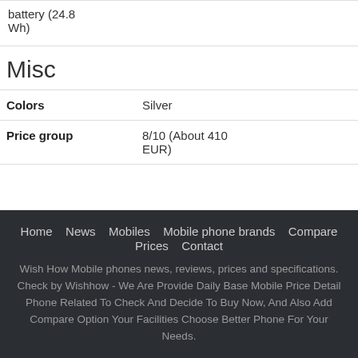|  | battery (24.8 Wh) |
Misc
| Colors | Silver |
| Price group | 8/10 (About 410 EUR) |
Home  News  Mobiles  Mobile phone brands  Compare Prices  Contact  Wish How Mobile phones news, reviews, prices and specifications. Check by Wishhow - We Are Provide Daily Base Mobile Price Detail Phone Related To Check And Decide To Buy Now, And Also Add Compare Option Your Facilities Choose Better Phone For Your Needs.